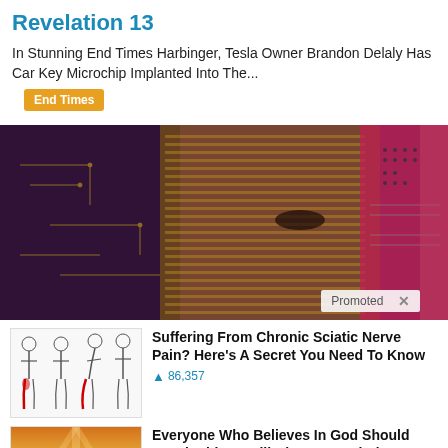Revelation 13
In Stunning End Times Harbinger, Tesla Owner Brandon Delaly Has Car Key Microchip Implanted Into The...
End Times
[Figure (photo): Digital art image of human faces overlaid with circuit board patterns in purple, gold, and red tones. A 'Promoted X' badge appears in the lower right area.]
[Figure (photo): Medical illustration showing human body outline with sciatic nerve pain highlighted in red along the leg]
Suffering From Chronic Sciatic Nerve Pain? Here's A Secret You Need To Know
86,357
[Figure (photo): Scenic photo of cloudy golden sky with a video play button overlay]
Everyone Who Believes In God Should Watch This. It Will Blow Your Mind
20,044